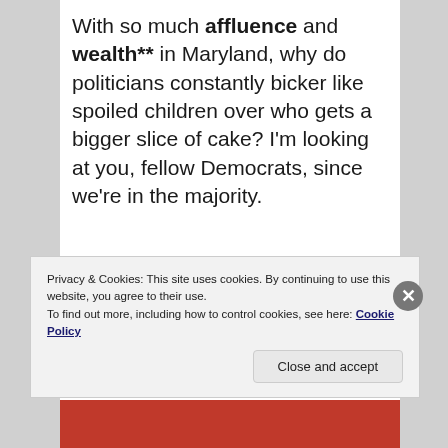With so much affluence and wealth** in Maryland, why do politicians constantly bicker like spoiled children over who gets a bigger slice of cake? I'm looking at you, fellow Democrats, since we're in the majority.
Nothing focuses the attention of
Privacy & Cookies: This site uses cookies. By continuing to use this website, you agree to their use.
To find out more, including how to control cookies, see here: Cookie Policy
Close and accept